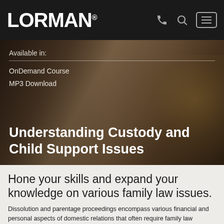LORMAN®
[Figure (photo): Background photo of a wooden gavel and a wooden figure silhouette on a dark background, representing family law / custody proceedings.]
Available in:
OnDemand Course
MP3 Download
Understanding Custody and Child Support Issues
Hone your skills and expand your knowledge on various family law issues.
Dissolution and parentage proceedings encompass various financial and personal aspects of domestic relations that often require family law attorneys to navigate meticulously and thoroughly. This presentation will provide a comprehensive review of